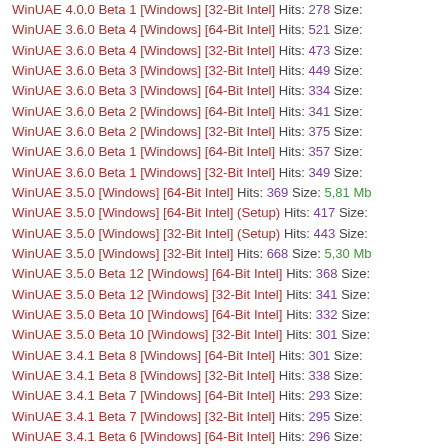WinUAE 4.0.0 Beta 1 [Windows] [32-Bit Intel] Hits: 278 Size:
WinUAE 3.6.0 Beta 4 [Windows] [64-Bit Intel] Hits: 521 Size:
WinUAE 3.6.0 Beta 4 [Windows] [32-Bit Intel] Hits: 473 Size:
WinUAE 3.6.0 Beta 3 [Windows] [32-Bit Intel] Hits: 449 Size:
WinUAE 3.6.0 Beta 3 [Windows] [64-Bit Intel] Hits: 334 Size:
WinUAE 3.6.0 Beta 2 [Windows] [64-Bit Intel] Hits: 341 Size:
WinUAE 3.6.0 Beta 2 [Windows] [32-Bit Intel] Hits: 375 Size:
WinUAE 3.6.0 Beta 1 [Windows] [64-Bit Intel] Hits: 357 Size:
WinUAE 3.6.0 Beta 1 [Windows] [32-Bit Intel] Hits: 349 Size:
WinUAE 3.5.0 [Windows] [64-Bit Intel] Hits: 369 Size: 5,81 Mb
WinUAE 3.5.0 [Windows] [64-Bit Intel] (Setup) Hits: 417 Size:
WinUAE 3.5.0 [Windows] [32-Bit Intel] (Setup) Hits: 443 Size:
WinUAE 3.5.0 [Windows] [32-Bit Intel] Hits: 668 Size: 5,30 Mb
WinUAE 3.5.0 Beta 12 [Windows] [64-Bit Intel] Hits: 368 Size:
WinUAE 3.5.0 Beta 12 [Windows] [32-Bit Intel] Hits: 341 Size:
WinUAE 3.5.0 Beta 10 [Windows] [64-Bit Intel] Hits: 332 Size:
WinUAE 3.5.0 Beta 10 [Windows] [32-Bit Intel] Hits: 301 Size:
WinUAE 3.4.1 Beta 8 [Windows] [64-Bit Intel] Hits: 301 Size:
WinUAE 3.4.1 Beta 8 [Windows] [32-Bit Intel] Hits: 338 Size:
WinUAE 3.4.1 Beta 7 [Windows] [64-Bit Intel] Hits: 293 Size:
WinUAE 3.4.1 Beta 7 [Windows] [32-Bit Intel] Hits: 295 Size:
WinUAE 3.4.1 Beta 6 [Windows] [64-Bit Intel] Hits: 296 Size: